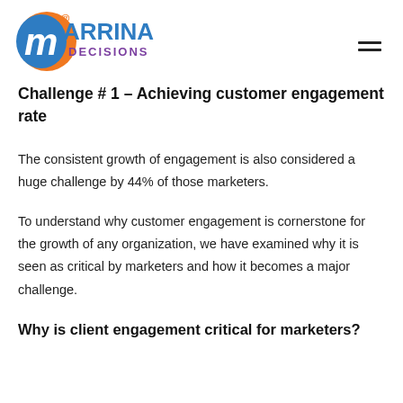[Figure (logo): Marrina Decisions logo with orange and blue circular icon and text]
Challenge # 1 – Achieving customer engagement rate
The consistent growth of engagement is also considered a huge challenge by 44% of those marketers.
To understand why customer engagement is cornerstone for the growth of any organization, we have examined why it is seen as critical by marketers and how it becomes a major challenge.
Why is client engagement critical for marketers?